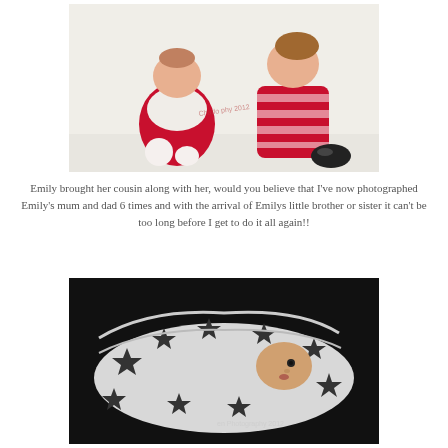[Figure (photo): Two young girls sitting on white background. A baby in a red outfit with white cardigan on the left, and a toddler in a red striped dress on the right. Both looking up. Watermark text visible.]
Emily brought her cousin along with her, would you believe that I've now photographed Emily's mum and dad 6 times and with the arrival of Emilys little brother or sister it can't be too long before I get to do it all again!!
[Figure (photo): Black and white photo of a newborn baby wrapped in a star-patterned blanket/fabric, lying on a dark background. Watermark text visible: 'Photography 2012'.]